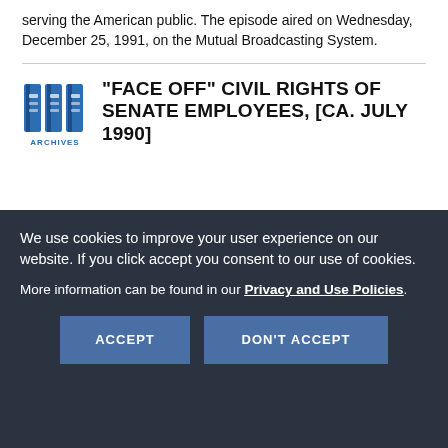serving the American public. The episode aired on Wednesday, December 25, 1991, on the Mutual Broadcasting System.
[Figure (logo): Archives binder icon logo with text ARCHIVES below]
"FACE OFF" CIVIL RIGHTS OF SENATE EMPLOYEES, [CA. JULY 1990]
We use cookies to improve your user experience on our website. If you click accept you consent to our use of cookies.
More information can be found in our Privacy and Use Policies.